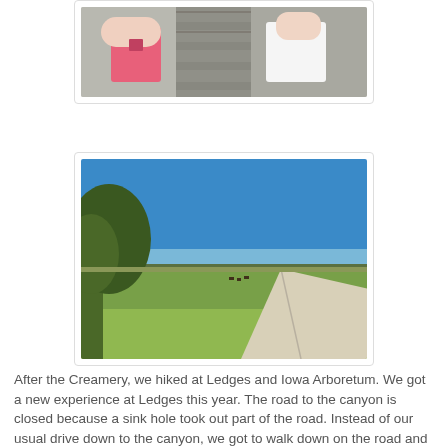[Figure (photo): Partial view of two children (one in pink tank top, one in white shirt) near a stone wall or fence, top portion cropped]
[Figure (photo): Rural landscape with bright blue sky, green grassy fields, a gravel road curving to the right, and a tree on the left side]
After the Creamery, we hiked at Ledges and Iowa Arboretum. We got a new experience at Ledges this year. The road to the canyon is closed because a sink hole took out part of the road. Instead of our usual drive down to the canyon, we got to walk down on the road and take in some spectacular views (that we only see from the car).